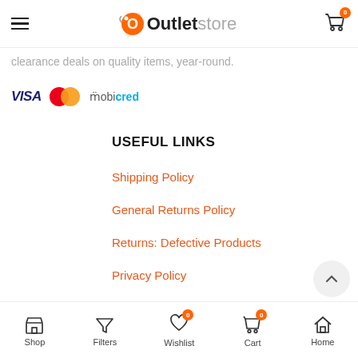OutletStore navigation header
clearance deals on quality items, year-round.
[Figure (logo): Payment method logos: VISA, Mastercard, Mobicred]
USEFUL LINKS
Shipping Policy
General Returns Policy
Returns: Defective Products
Privacy Policy
Terms & Conditions
OUR RANGES
Shop | Filters | Wishlist 0 | Cart 0 | Home